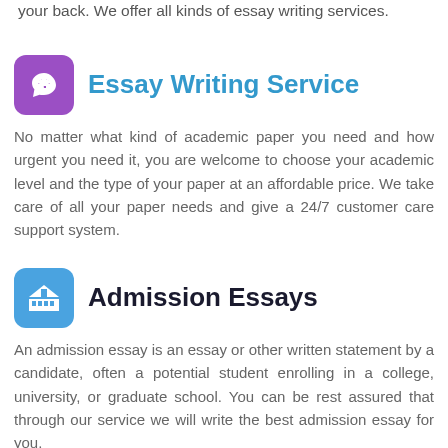your back. We offer all kinds of essay writing services.
Essay Writing Service
No matter what kind of academic paper you need and how urgent you need it, you are welcome to choose your academic level and the type of your paper at an affordable price. We take care of all your paper needs and give a 24/7 customer care support system.
Admission Essays
An admission essay is an essay or other written statement by a candidate, often a potential student enrolling in a college, university, or graduate school. You can be rest assured that through our service we will write the best admission essay for you.